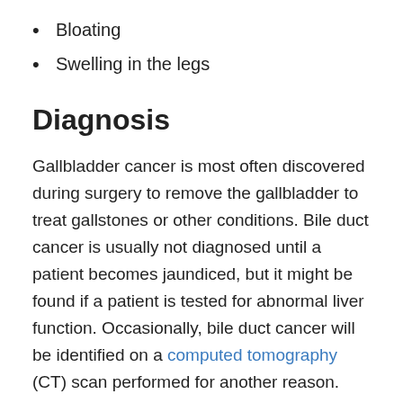Bloating
Swelling in the legs
Diagnosis
Gallbladder cancer is most often discovered during surgery to remove the gallbladder to treat gallstones or other conditions. Bile duct cancer is usually not diagnosed until a patient becomes jaundiced, but it might be found if a patient is tested for abnormal liver function. Occasionally, bile duct cancer will be identified on a computed tomography (CT) scan performed for another reason.
Blood tests, diagnostic imaging, biopsy, or a combination of these tests are typically used to diagnose and stage gallbladder cancer or bile